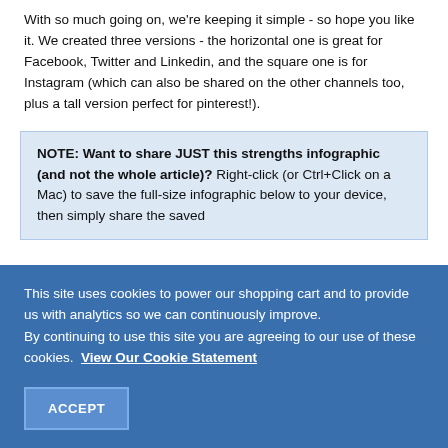With so much going on, we're keeping it simple - so hope you like it. We created three versions - the horizontal one is great for Facebook, Twitter and Linkedin, and the square one is for Instagram (which can also be shared on the other channels too, plus a tall version perfect for pinterest!).
NOTE: Want to share JUST this strengths infographic (and not the whole article)? Right-click (or Ctrl+Click on a Mac) to save the full-size infographic below to your device, then simply share the saved...
This site uses cookies to power our shopping cart and to provide us with analytics so we can continuously improve. By continuing to use this site you are agreeing to our use of these cookies. View Our Cookie Statement
ACCEPT